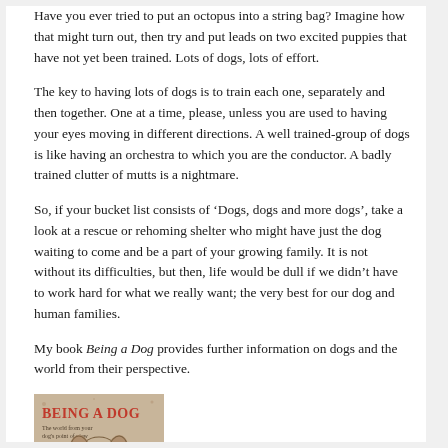Have you ever tried to put an octopus into a string bag? Imagine how that might turn out, then try and put leads on two excited puppies that have not yet been trained. Lots of dogs, lots of effort.
The key to having lots of dogs is to train each one, separately and then together. One at a time, please, unless you are used to having your eyes moving in different directions. A well trained-group of dogs is like having an orchestra to which you are the conductor. A badly trained clutter of mutts is a nightmare.
So, if your bucket list consists of ‘Dogs, dogs and more dogs’, take a look at a rescue or rehoming shelter who might have just the dog waiting to come and be a part of your growing family. It is not without its difficulties, but then, life would be dull if we didn’t have to work hard for what we really want; the very best for our dog and human families.
My book Being a Dog provides further information on dogs and the world from their perspective.
[Figure (photo): Book cover of 'Being a Dog' showing a dog illustration on a tan/beige background with red title text and subtitle text.]